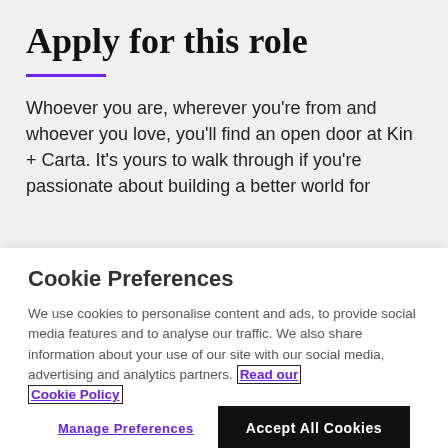Apply for this role
Whoever you are, wherever you're from and whoever you love, you'll find an open door at Kin + Carta. It's yours to walk through if you're passionate about building a better world for
Cookie Preferences
We use cookies to personalise content and ads, to provide social media features and to analyse our traffic. We also share information about your use of our site with our social media, advertising and analytics partners. Read our Cookie Policy
Manage Preferences
Accept All Cookies